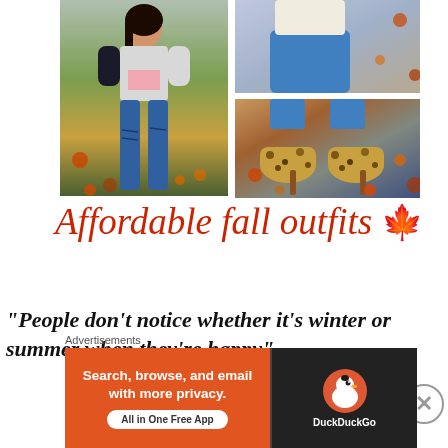[Figure (photo): Fashion collage: left image shows a young woman in a pink crop top, white/black jacket, and ripped jeans standing outdoors among autumn leaves. Top-right image shows someone in a blue denim skirt/jeans and a cream top. Bottom-right image shows close-up of leopard print heels with blue rolled jeans cuffs on autumn leaves.]
Affordable fall outfits 🍁
“People don’t notice whether it’s winter or summer when they’re happy”
Advertisements
[Figure (screenshot): DuckDuckGo advertisement banner. Left orange section reads 'Search, browse, and email with more privacy. All in One Free App'. Right dark section shows DuckDuckGo duck logo and brand name.]